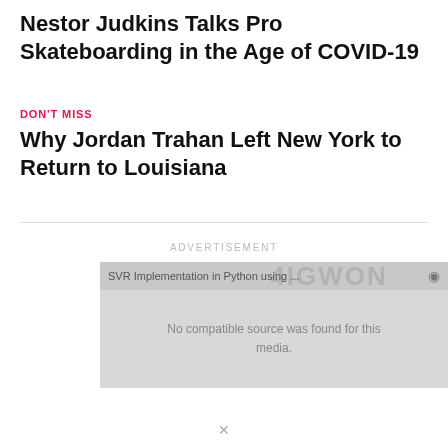Nestor Judkins Talks Pro Skateboarding in the Age of COVID-19
DON'T MISS
Why Jordan Trahan Left New York to Return to Louisiana
ADVERTISEMENT
[Figure (other): Advertisement placeholder showing a video player with message: SVR Implementation in Python using ... No compatible source was found for this media.]